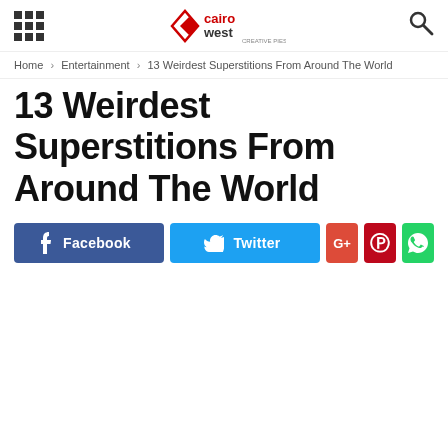Cairo West logo header with grid menu and search icon
Home › Entertainment › 13 Weirdest Superstitions From Around The World
13 Weirdest Superstitions From Around The World
[Figure (other): Social media share buttons: Facebook, Twitter, Google+, Pinterest, WhatsApp]